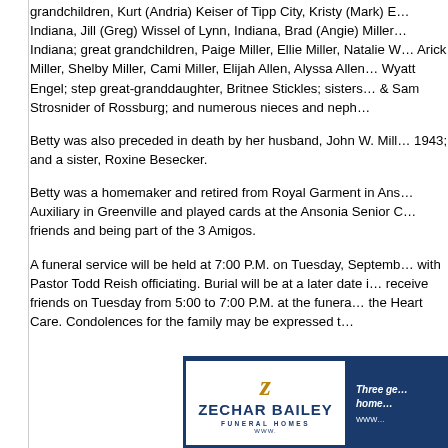grandchildren, Kurt (Andria) Keiser of Tipp City, Kristy (Mark) E... Indiana, Jill (Greg) Wissel of Lynn, Indiana, Brad (Angie) Miller... Indiana; great grandchildren, Paige Miller, Ellie Miller, Natalie W... Arick Miller, Shelby Miller, Cami Miller, Elijah Allen, Alyssa Allen... Wyatt Engel; step great-granddaughter, Britnee Stickles; sisters... & Sam Strosnider of Rossburg; and numerous nieces and neph...
Betty was also preceded in death by her husband, John W. Mill... 1943; and a sister, Roxine Besecker.
Betty was a homemaker and retired from Royal Garment in Ans... Auxiliary in Greenville and played cards at the Ansonia Senior C... friends and being part of the 3 Amigos.
A funeral service will be held at 7:00 P.M. on Tuesday, Septemb... with Pastor Todd Reish officiating. Burial will be at a later date i... receive friends on Tuesday from 5:00 to 7:00 P.M. at the funera... the Heart Care. Condolences for the family may be expressed t...
[Figure (logo): Zechar Bailey Funeral Homes logo — hexagonal shape with gold swoosh, navy blue text 'ZECHAR BAILEY' and 'FUNERAL HOMES', plus navy blue panel with white italic text 'Three ge... home...' and 'www...']